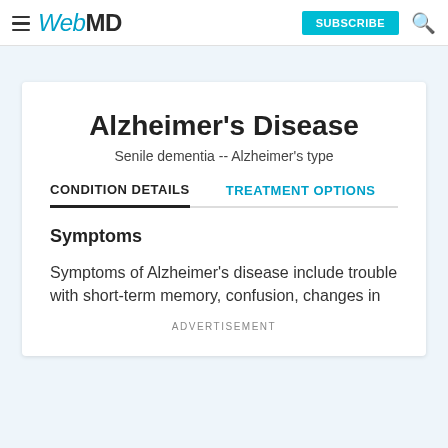WebMD | SUBSCRIBE
Alzheimer's Disease
Senile dementia -- Alzheimer's type
CONDITION DETAILS   TREATMENT OPTIONS
Symptoms
Symptoms of Alzheimer's disease include trouble with short-term memory, confusion, changes in
ADVERTISEMENT